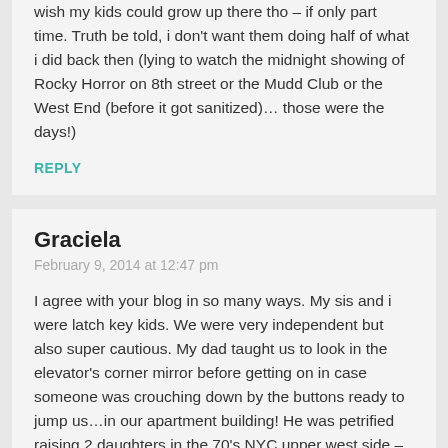wish my kids could grow up there tho – if only part time. Truth be told, i don't want them doing half of what i did back then (lying to watch the midnight showing of Rocky Horror on 8th street or the Mudd Club or the West End (before it got sanitized)… those were the days!)
REPLY
Graciela
February 9, 2014 at 12:47 pm
I agree with your blog in so many ways. My sis and i were latch key kids. We were very independent but also super cautious. My dad taught us to look in the elevator's corner mirror before getting on in case someone was crouching down by the buttons ready to jump us…in our apartment building! He was petrified raising 2 daughters in the 70's NYC upper west side – not on Central Park, West End or